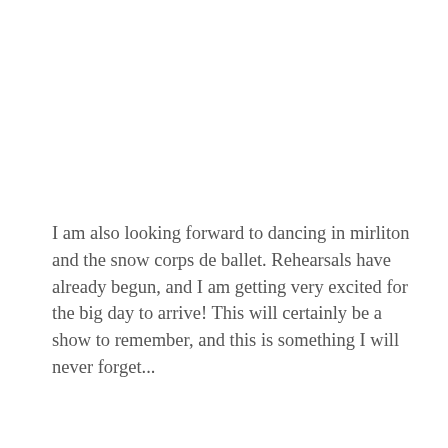I am also looking forward to dancing in mirliton and the snow corps de ballet. Rehearsals have already begun, and I am getting very excited for the big day to arrive! This will certainly be a show to remember, and this is something I will never forget...
Have you ever seen the Nutcracker? If you are dancing, what roles did you land this year? Do you have anything exciting
Privacy & Cookies: This site uses cookies. By continuing to use this website, you agree to their use.
To find out more, including how to control cookies, see here: Cookie Policy
Close and accept